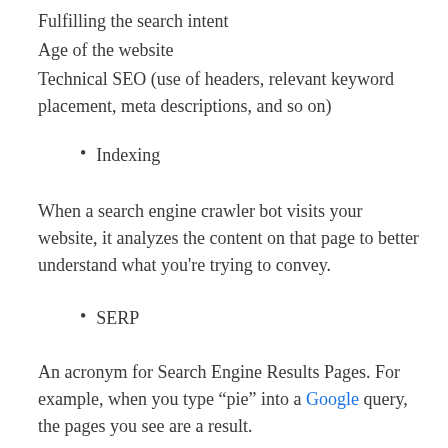Fulfilling the search intent
Age of the website
Technical SEO (use of headers, relevant keyword placement, meta descriptions, and so on)
Indexing
When a search engine crawler bot visits your website, it analyzes the content on that page to better understand what you're trying to convey.
SERP
An acronym for Search Engine Results Pages. For example, when you type “pie” into a Google query, the pages you see are a result.
Traffic